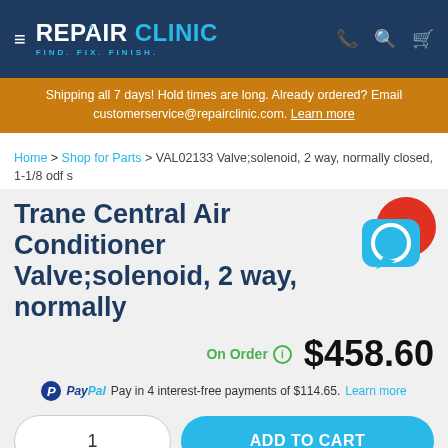REPAIR CLINIC — FIND. FIX. FINISH.
Shipping all 7 days! Hold times are long. Already ordered? Email customerservice@repairclinic.com. Learn more
Home > Shop for Parts > VAL02133 Valve;solenoid, 2 way, normally closed, 1-1/8 odf s
Trane Central Air Conditioner Valve;solenoid, 2 way, normally
On Order  $458.60
PayPal Pay in 4 interest-free payments of $114.65. Learn more
1   ADD TO CART